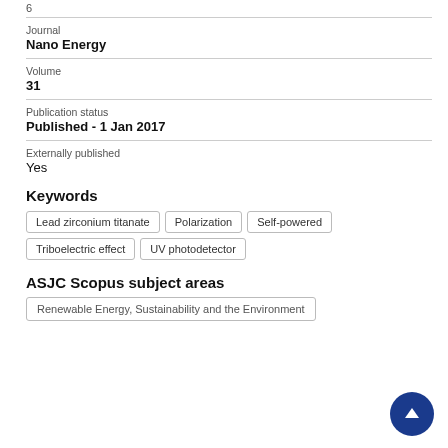6
Journal
Nano Energy
Volume
31
Publication status
Published - 1 Jan 2017
Externally published
Yes
Keywords
Lead zirconium titanate
Polarization
Self-powered
Triboelectric effect
UV photodetector
ASJC Scopus subject areas
Renewable Energy, Sustainability and the Environment